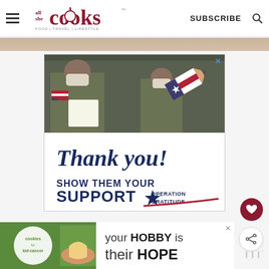all she cooks — FOOD | TRAVEL | LIFESTYLE — SUBSCRIBE
[Figure (photo): Advertisement banner: Military personnel wearing masks and gloves reviewing papers, with a patriotic pencil graphic and text 'Thank you! SHOW THEM YOUR SUPPORT OPERATION GRATITUDE']
[Figure (photo): Bottom advertisement: 'Cookies for Kid's Cancer' — your HOBBY is their HOPE]